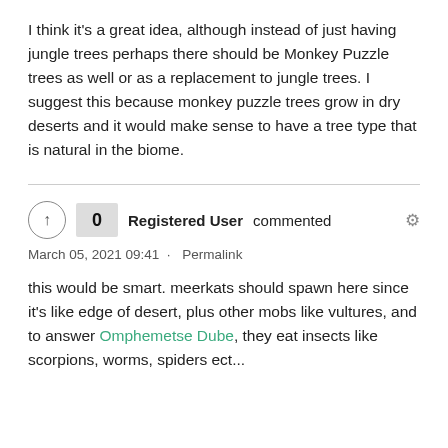I think it's a great idea, although instead of just having jungle trees perhaps there should be Monkey Puzzle trees as well or as a replacement to jungle trees. I suggest this because monkey puzzle trees grow in dry deserts and it would make sense to have a tree type that is natural in the biome.
0  Registered User commented  [gear icon]  March 05, 2021 09:41 · Permalink
this would be smart. meerkats should spawn here since it's like edge of desert, plus other mobs like vultures, and to answer Omphemetse Dube, they eat insects like scorpions, worms, spiders ect...